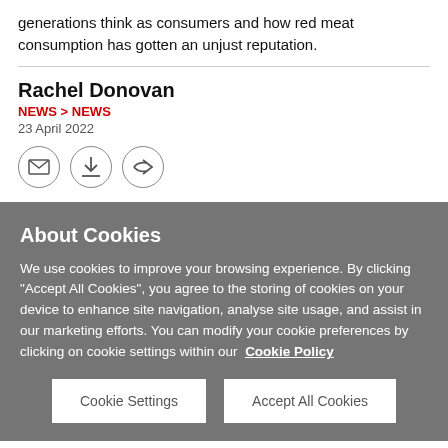generations think as consumers and how red meat consumption has gotten an unjust reputation.
Rachel Donovan
NEWS > NEWS
23 April 2022
[Figure (illustration): Three circular icon buttons: email envelope, download arrow, and share/forward arrow]
About Cookies
We use cookies to improve your browsing experience. By clicking "Accept All Cookies", you agree to the storing of cookies on your device to enhance site navigation, analyse site usage, and assist in our marketing efforts. You can modify your cookie preferences by clicking on cookie settings within our  Cookie Policy
Cookie Settings
Accept All Cookies